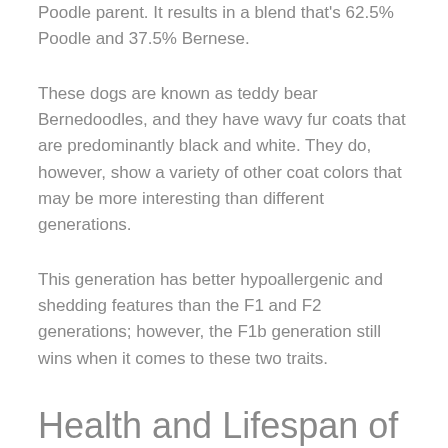Poodle parent. It results in a blend that's 62.5% Poodle and 37.5% Bernese.
These dogs are known as teddy bear Bernedoodles, and they have wavy fur coats that are predominantly black and white. They do, however, show a variety of other coat colors that may be more interesting than different generations.
This generation has better hypoallergenic and shedding features than the F1 and F2 generations; however, the F1b generation still wins when it comes to these two traits.
Health and Lifespan of Bernedoodles